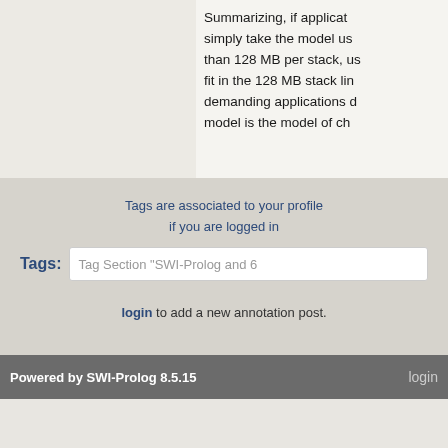Summarizing, if applicat simply take the model us than 128 MB per stack, us fit in the 128 MB stack lim demanding applications o model is the model of ch
Tags are associated to your profile if you are logged in
Tags:  Tag Section "SWI-Prolog and 6
login to add a new annotation post.
Powered by SWI-Prolog 8.5.15    login